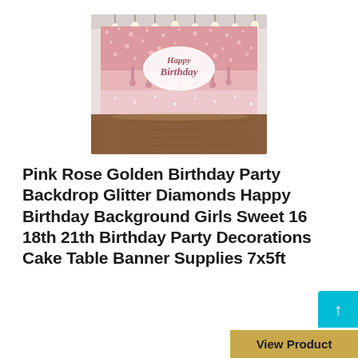[Figure (photo): A pink rose gold glitter Birthday party backdrop showing 'Happy Birthday' text in an oval frame, with sparkling bokeh effects and dripping glitter, displayed in front of pendant lights with a wooden floor below.]
Pink Rose Golden Birthday Party Backdrop Glitter Diamonds Happy Birthday Background Girls Sweet 16 18th 21th Birthday Party Decorations Cake Table Banner Supplies 7x5ft